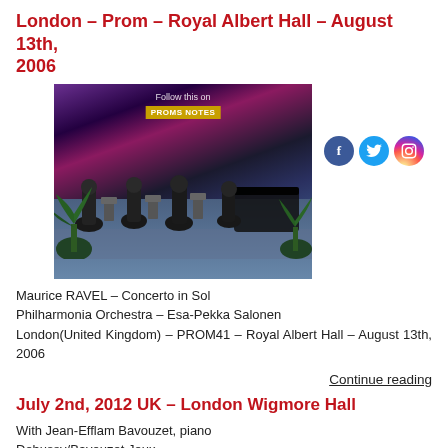London – Prom – Royal Albert Hall – August 13th, 2006
[Figure (photo): Photo of orchestra performing on stage at Royal Albert Hall, with social media icons (Facebook, Twitter, Instagram) overlaid, and a 'Proms Notes' label visible.]
Maurice RAVEL – Concerto in Sol
Philharmonia Orchestra – Esa-Pekka Salonen
London(United Kingdom) – PROM41 – Royal Albert Hall – August 13th, 2006
Continue reading
July 2nd, 2012 UK – London Wigmore Hall
With Jean-Efflam Bavouzet, piano
Debussy/Bavouzet Jeux